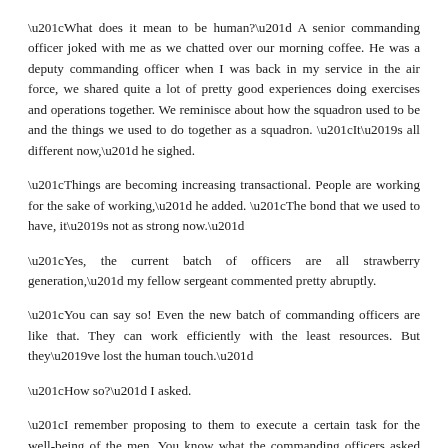“What does it mean to be human?” A senior commanding officer joked with me as we chatted over our morning coffee. He was a deputy commanding officer when I was back in my service in the air force, we shared quite a lot of pretty good experiences doing exercises and operations together. We reminisce about how the squadron used to be and the things we used to do together as a squadron. “It’s all different now,” he sighed.
“Things are becoming increasing transactional. People are working for the sake of working,” he added. “The bond that we used to have, it’s not as strong now.”
“Yes, the current batch of officers are all strawberry generation,” my fellow sergeant commented pretty abruptly.
“You can say so! Even the new batch of commanding officers are like that. They can work efficiently with the least resources. But they’ve lost the human touch.”
“How so?” I asked.
“I remember proposing to them to execute a certain task for the well-being of the men. You know what the commanding officers asked me? What are the orders regarding this that you’re proposing? How long can we drag before we